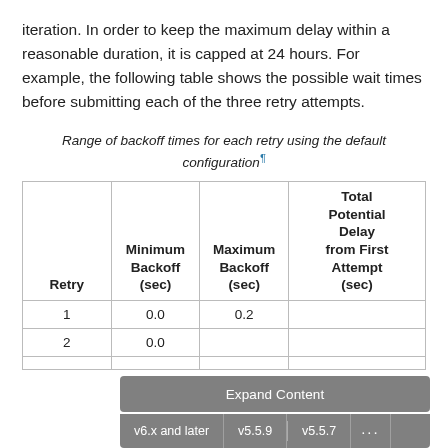iteration. In order to keep the maximum delay within a reasonable duration, it is capped at 24 hours. For example, the following table shows the possible wait times before submitting each of the three retry attempts.
Range of backoff times for each retry using the default configuration
| Retry | Minimum Backoff (sec) | Maximum Backoff (sec) | Total Potential Delay from First Attempt (sec) |
| --- | --- | --- | --- |
| 1 | 0.0 | 0.2 |  |
| 2 | 0.0 |  |  |